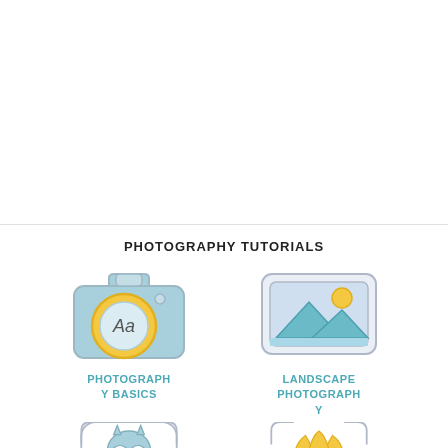PHOTOGRAPHY TUTORIALS
[Figure (illustration): Camera icon with 'Aa' text representing Photography Basics tutorial]
PHOTOGRAPHY BASICS
[Figure (illustration): Landscape image placeholder icon representing Landscape Photography tutorial]
LANDSCAPE PHOTOGRAPHY
[Figure (illustration): Owl icon partially visible representing a photography tutorial]
[Figure (illustration): Tulip/flower icon partially visible representing a photography tutorial]